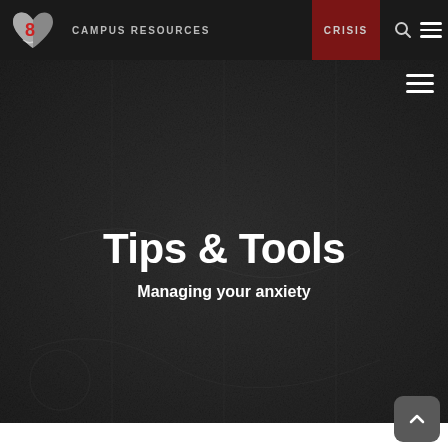CAMPUS RESOURCES | CRISIS
[Figure (screenshot): Dark chalkboard-textured hero background with hamburger menu icon in top-right corner]
Tips & Tools
Managing your anxiety